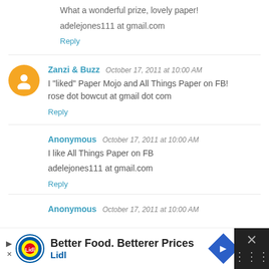What a wonderful prize, lovely paper!
adelejones111 at gmail.com
Reply
Zanzi & Buzz  October 17, 2011 at 10:00 AM
I "liked" Paper Mojo and All Things Paper on FB! rose dot bowcut at gmail dot com
Reply
Anonymous  October 17, 2011 at 10:00 AM
I like All Things Paper on FB
adelejones111 at gmail.com
Reply
Anonymous  October 17, 2011 at 10:00 AM
[Figure (infographic): Lidl advertisement banner: Better Food. Betterer Prices - Lidl]